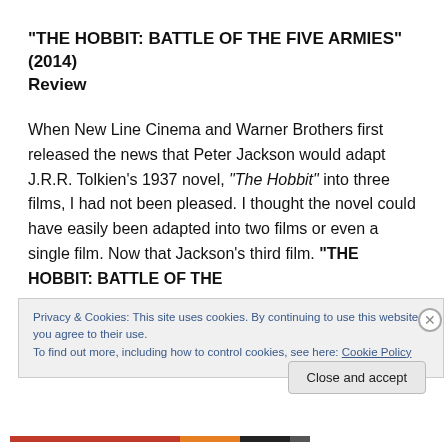“THE HOBBIT: BATTLE OF THE FIVE ARMIES” (2014) Review
When New Line Cinema and Warner Brothers first released the news that Peter Jackson would adapt J.R.R. Tolkien’s 1937 novel, “The Hobbit” into three films, I had not been pleased. I thought the novel could have easily been adapted into two films or even a single film. Now that Jackson’s third film. “THE HOBBIT: BATTLE OF THE
Privacy & Cookies: This site uses cookies. By continuing to use this website, you agree to their use.
To find out more, including how to control cookies, see here: Cookie Policy
Close and accept